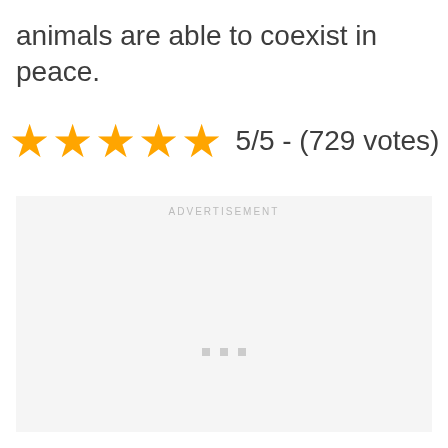animals are able to coexist in peace.
[Figure (other): Five gold star rating with text '5/5 - (729 votes)']
ADVERTISEMENT
[Figure (other): Advertisement placeholder area with loading dots]